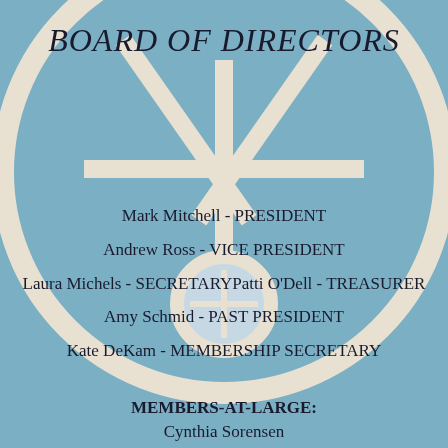[Figure (photo): Blue and white architectural ceiling with arched dome, radiating spokes/dividers, and a small circular window at the bottom center. The background serves as the page background image.]
BOARD OF DIRECTORS
Mark Mitchell - PRESIDENT
Andrew Ross - VICE PRESIDENT
Laura Michels - SECRETARYPatti O'Dell - TREASURER
Amy Schmid - PAST PRESIDENT
Kate DeKam - MEMBERSHIP SECRETARY
MEMBERS-AT-LARGE:
Cynthia Sorensen